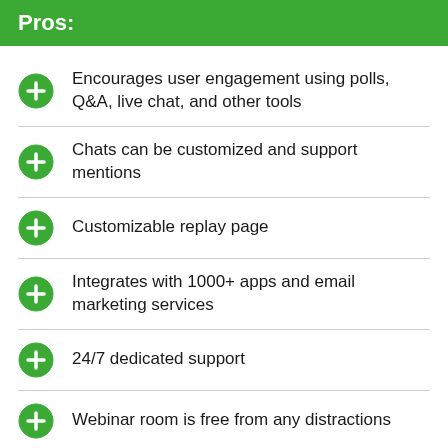Pros:
Encourages user engagement using polls, Q&A, live chat, and other tools
Chats can be customized and support mentions
Customizable replay page
Integrates with 1000+ apps and email marketing services
24/7 dedicated support
Webinar room is free from any distractions
Standard pro plus live quality...